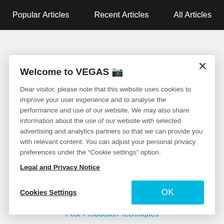Popular Articles   Recent Articles   All Articles
Welcome to VEGAS 🎰
Dear visitor, please note that this website uses cookies to improve your user experience and to analyse the performance and use of our website. We may also share information about the use of our website with selected advertising and analytics partners so that we can provide you with relevant content. You can adjust your personal privacy preferences under the "Cookie settings" option.
Legal and Privacy Notice
Cookies Settings
OK
Post-Production Techniques